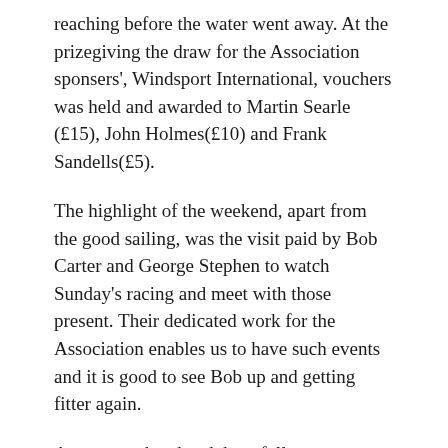reaching before the water went away. At the prizegiving the draw for the Association sponsers', Windsport International, vouchers was held and awarded to Martin Searle (£15), John Holmes(£10) and Frank Sandells(£5).
The highlight of the weekend, apart from the good sailing, was the visit paid by Bob Carter and George Stephen to watch Sunday's racing and meet with those present. Their dedicated work for the Association enables us to have such events and it is good to see Bob up and getting fitter again.
A great weekend and, hopefully, a venue to re-visited in 2008. Many thanks to all at SSC for their work and their hospitality.